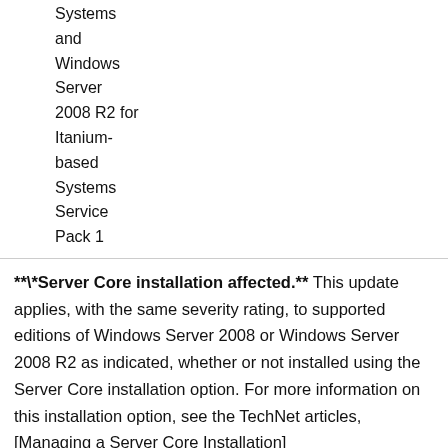| Systems
and
Windows
Server
2008 R2 for
Itanium-
based
Systems
Service
Pack 1 |
**\*Server Core installation affected.** This update applies, with the same severity rating, to supported editions of Windows Server 2008 or Windows Server 2008 R2 as indicated, whether or not installed using the Server Core installation option. For more information on this installation option, see the TechNet articles, [Managing a Server Core Installation](http://technet.microsoft.com/en-us/library/ee441255(ws.10).aspx) and [Servicing a Server Core Installation](http://technet.microsoft.com/en-